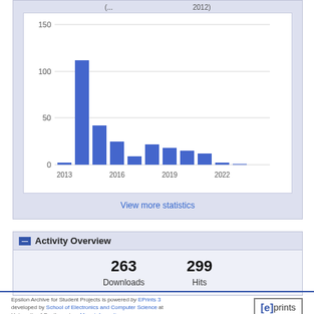(... 2012)
[Figure (bar-chart): Downloads per year (2012)]
View more statistics
Activity Overview
263
Downloads
299
Hits
Epsilon Archive for Student Projects is powered by EPrints 3 developed by School of Electronics and Computer Science at University of Southampton. More information.